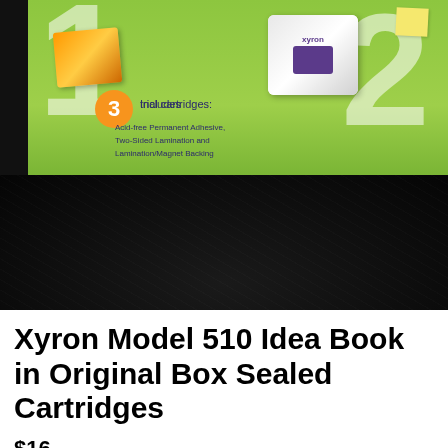[Figure (photo): Product photo showing a Xyron Model 510 box with green background, large white numbers 1 and 2, an orange circle with '3', text 'Includes 3 trial cartridges: Acid-free Permanent Adhesive, Two-Sided Lamination and Lamination/Magnet Backing', a small white printer/device box, a photo print, and a sticky note. Lower half of image is very dark/black background.]
Xyron Model 510 Idea Book in Original Box Sealed Cartridges
$16